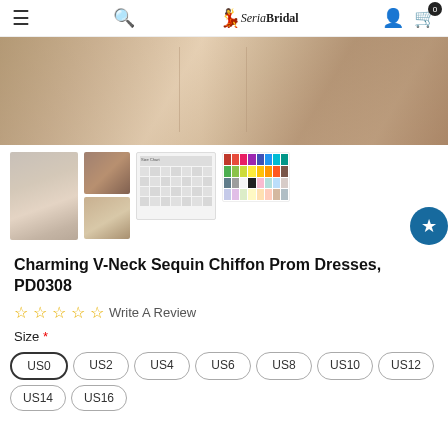SeriaBridal navigation bar with menu, search, logo, user, and cart icons
[Figure (photo): Close-up product photo of champagne/blush chiffon prom dress fabric showing draping and texture]
[Figure (photo): Thumbnail 1: full-length view of model in champagne prom dress]
[Figure (photo): Thumbnail 2: two images stacked - back and front view of dress on model]
[Figure (table-as-image): Thumbnail 3: size chart table]
[Figure (photo): Thumbnail 4: color swatch options grid]
Charming V-Neck Sequin Chiffon Prom Dresses, PD0308
☆☆☆☆☆ Write A Review
Size *
US0
US2
US4
US6
US8
US10
US12
US14
US16